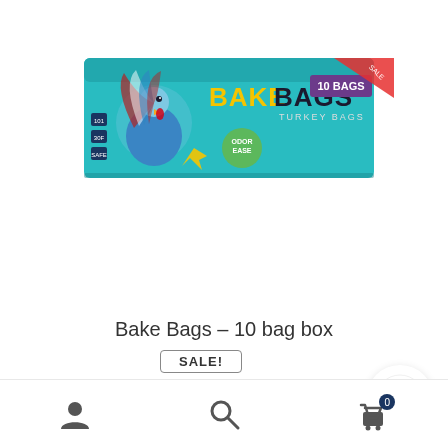[Figure (photo): Product photo of Bake Bags turkey roasting bags box (10 bags), teal/blue packaging with a cartoon turkey, showing oven-safe, freezer-safe, and microwave-safe icons.]
Bake Bags – 10 bag box
SALE!
$44.99  $24.65
[Figure (logo): Circular green eco/leaf badge logo]
SKU 700010
[Figure (infographic): Bottom navigation bar with user/account icon, search magnifying glass icon, and shopping cart icon with badge showing 0]